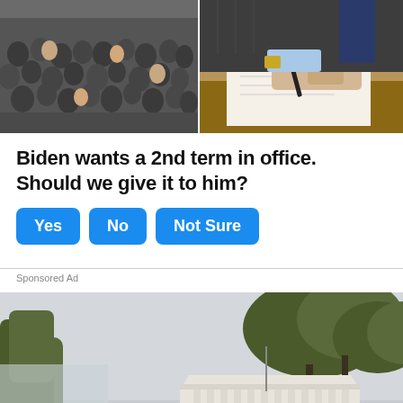[Figure (photo): Left: crowd of people at a public event. Right: person signing a document at a desk.]
Biden wants a 2nd term in office. Should we give it to him?
Yes | No | Not Sure
Sponsored Ad
[Figure (photo): Exterior view of a government building (Supreme Court) with trees in the foreground on an overcast day.]